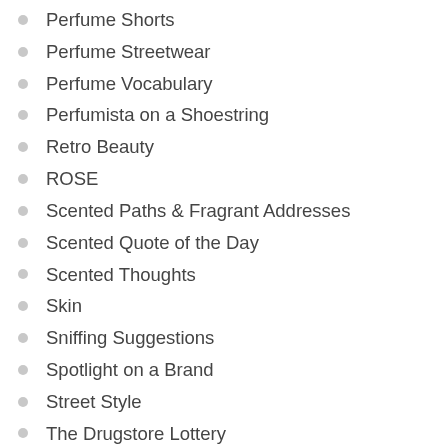Perfume Shorts
Perfume Streetwear
Perfume Vocabulary
Perfumista on a Shoestring
Retro Beauty
ROSE
Scented Paths & Fragrant Addresses
Scented Quote of the Day
Scented Thoughts
Skin
Sniffing Suggestions
Spotlight on a Brand
Street Style
The Drugstore Lottery
The Fifth Sense in the News
The Readers Talk Back
Trend Alert
VIOLET